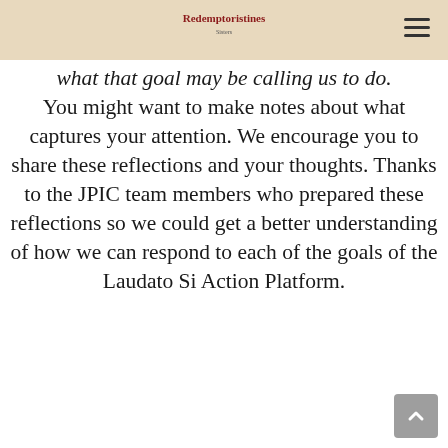[Logo: Redemptoristines]
what that goal may be calling us to do. You might want to make notes about what captures your attention. We encourage you to share these reflections and your thoughts. Thanks to the JPIC team members who prepared these reflections so we could get a better understanding of how we can respond to each of the goals of the Laudato Si Action Platform.